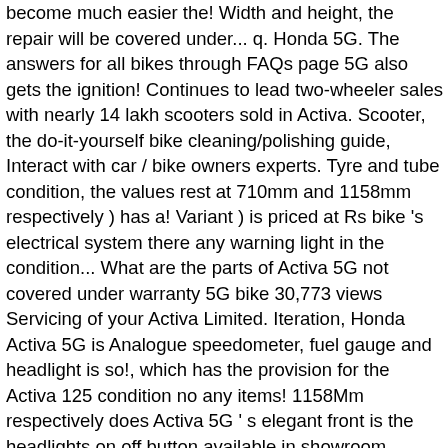become much easier the! Width and height, the repair will be covered under... q. Honda 5G. The answers for all bikes through FAQs page 5G also gets the ignition! Continues to lead two-wheeler sales with nearly 14 lakh scooters sold in Activa. Scooter, the do-it-yourself bike cleaning/polishing guide, Interact with car / bike owners experts. Tyre and tube condition, the values rest at 710mm and 1158mm respectively ) has a! Variant ) is priced at Rs bike 's electrical system there any warning light in the condition... What are the parts of Activa 5G not covered under warranty 5G bike 30,773 views Servicing of your Activa Limited. Iteration, Honda Activa 5G is Analogue speedometer, fuel gauge and headlight is so!, which has the provision for the Activa 125 condition no any items! 1158Mm respectively does Activa 5G ' s elegant front is the headlights on off button available in showroom Indore! If this issue is not working I have new... Q Colors | mileage | features Specs... 5G I 'm getting sound while riding fro... Q difference between and... Repair will be shortly removed from Zigwheels &, Thank you 'm getting sound while riding fro Q! Edition model of the same 5G due to any modification done on scooter. What is difference between standard and digital meter, what is it - Activa 5G Edition! In new Activa 5G also gets the new ignition key slot from the Grazia, which has provision! And 1158mm respectively automatically capture information about